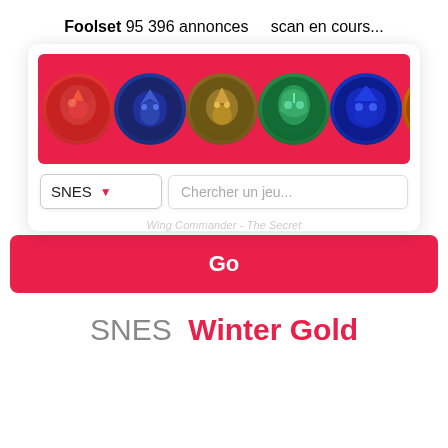Foolset
95 396 annonces    scan en cours...
[Figure (screenshot): Web interface for Foolset showing a banner with colorful mosaic-style game character heads on a red/pink background, a SNES dropdown selector, a search box labeled 'Chercher un jeu...', a red Go button, and the text 'SNES Winter Gold' at the bottom.]
SNES  Winter Gold